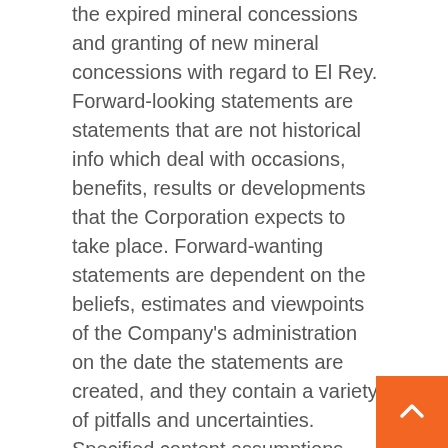the expired mineral concessions and granting of new mineral concessions with regard to El Rey. Forward-looking statements are statements that are not historical info which deal with occasions, benefits, results or developments that the Corporation expects to take place. Forward-wanting statements are dependent on the beliefs, estimates and viewpoints of the Company's administration on the date the statements are created, and they contain a variety of pitfalls and uncertainties. Specified content assumptions regarding these ahead-on the lookout statements were manufactured, including without the need of limitation, assumptions regarding the cost of gold, silver and copper the precision of mineral source estimations that there will be no substance adverse modify influencing the Business or its properties that all expected approvals will be acquired, together with